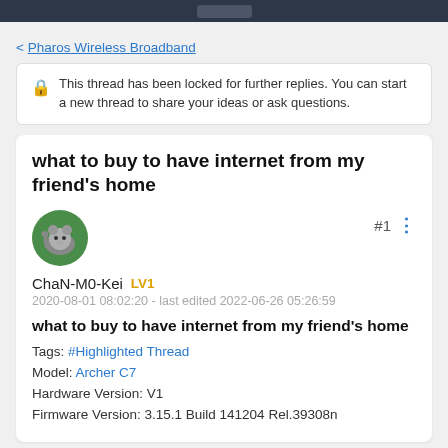< Pharos Wireless Broadband
🔒 This thread has been locked for further replies. You can start a new thread to share your ideas or ask questions.
what to buy to have internet from my friend's home
ChaN-M0-Kei  LV1
2020-08-01 08:02:20 - last edited 2022-06-26 05:26:59
what to buy to have internet from my friend's home
Tags: #Highlighted Thread
Model: Archer C7
Hardware Version: V1
Firmware Version: 3.15.1 Build 141204 Rel.39308n